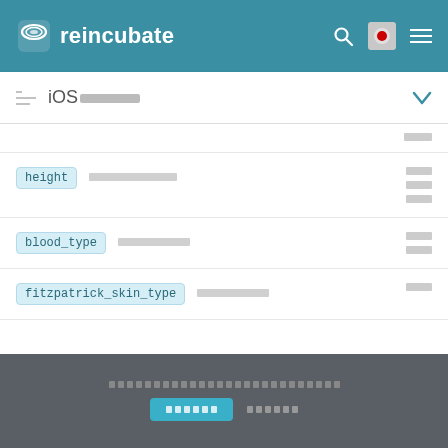reincubate
iOS[CJK chars]
| field | description | type |
| --- | --- | --- |
| height | [CJK text] | [CJK] |
| blood_type | [CJK text] | [CJK] |
| fitzpatrick_skin_type | [CJK text] | [CJK] |
[CJK footer text] [button] [CJK link]